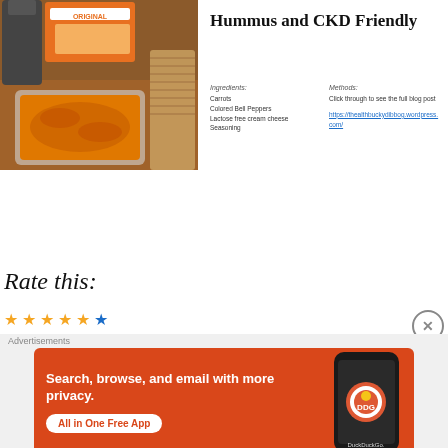[Figure (photo): Photo of orange-colored hummus in a plastic container with crackers box (Original) and a nutribullet blender in background on a wooden table.]
Hummus and CKD Friendly
Ingredients:
Carrots
Colored Bell Peppers
Lactose free cream cheese
Seasoning
Methods:
Click through to see the full blog post
https://thealthbuckydibbog.wordpress.com/
Rate this:
Advertisements
[Figure (screenshot): DuckDuckGo advertisement banner with orange background. Text reads: Search, browse, and email with more privacy. All in One Free App. Shows a phone with DuckDuckGo app and logo.]